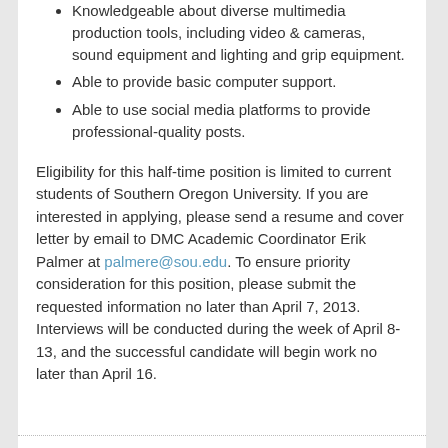Knowledgeable about diverse multimedia production tools, including video & cameras, sound equipment and lighting and grip equipment.
Able to provide basic computer support.
Able to use social media platforms to provide professional-quality posts.
Eligibility for this half-time position is limited to current students of Southern Oregon University. If you are interested in applying, please send a resume and cover letter by email to DMC Academic Coordinator Erik Palmer at palmere@sou.edu. To ensure priority consideration for this position, please submit the requested information no later than April 7, 2013. Interviews will be conducted during the week of April 8-13, and the successful candidate will begin work no later than April 16.